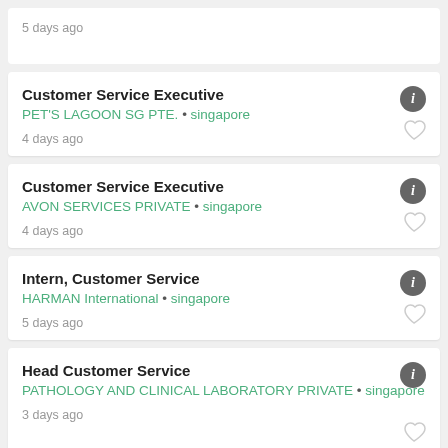5 days ago
Customer Service Executive
PET'S LAGOON SG PTE. • singapore
4 days ago
Customer Service Executive
AVON SERVICES PRIVATE • singapore
4 days ago
Intern, Customer Service
HARMAN International • singapore
5 days ago
Head Customer Service
PATHOLOGY AND CLINICAL LABORATORY PRIVATE • singapore
3 days ago